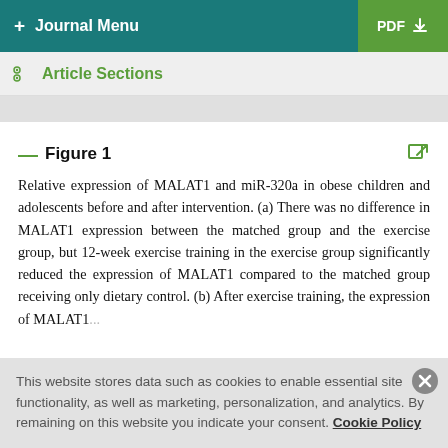+ Journal Menu | PDF
Article Sections
Figure 1
Relative expression of MALAT1 and miR-320a in obese children and adolescents before and after intervention. (a) There was no difference in MALAT1 expression between the matched group and the exercise group, but 12-week exercise training in the exercise group significantly reduced the expression of MALAT1 compared to the matched group receiving only dietary control. (b) After exercise training, the expression of MALAT1...
This website stores data such as cookies to enable essential site functionality, as well as marketing, personalization, and analytics. By remaining on this website you indicate your consent. Cookie Policy